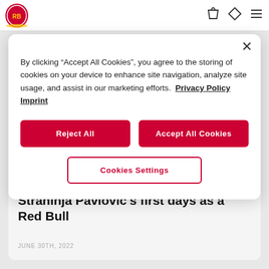[Figure (logo): Red Bull Salzburg logo in top left navigation bar]
By clicking “Accept All Cookies”, you agree to the storing of cookies on your device to enhance site navigation, analyze site usage, and assist in our marketing efforts.  Privacy Policy  Imprint
Reject All
Accept All Cookies
Cookies Settings
NEWS
Strahinja Pavlovic's first days as a Red Bull
JUNE 30TH, 2022